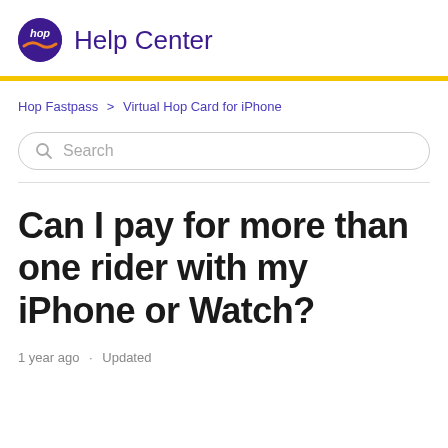hop Help Center
Hop Fastpass > Virtual Hop Card for iPhone
Search
Can I pay for more than one rider with my iPhone or Watch?
1 year ago · Updated